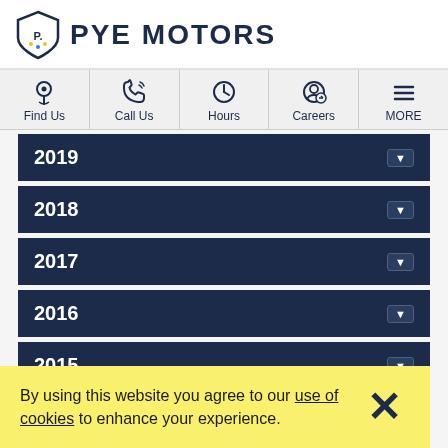PYE MOTORS
Find Us
Call Us
Hours
Careers
MORE
2019
2018
2017
2016
2015
By using this website you agree to our use of cookies to enhance your experience.